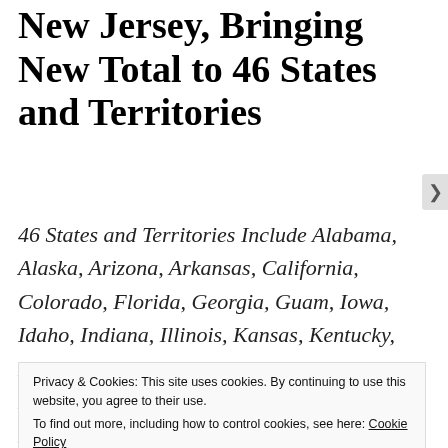New Jersey, Bringing New Total to 46 States and Territories
46 States and Territories Include Alabama, Alaska, Arizona, Arkansas, California, Colorado, Florida, Georgia, Guam, Iowa, Idaho, Indiana, Illinois, Kansas, Kentucky, Louisiana, Maine, Maryland, Massachusetts, Michigan, Minnesota, Missouri, Mississippi, Montana, North Carolina, North
Privacy & Cookies: This site uses cookies. By continuing to use this website, you agree to their use.
To find out more, including how to control cookies, see here: Cookie Policy